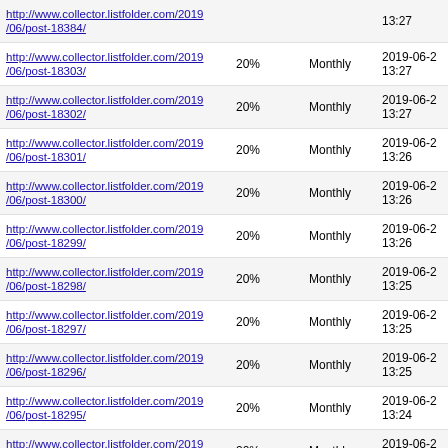| URL | Priority | Change Frequency | Last Modified |
| --- | --- | --- | --- |
| http://www.collector.listfolder.com/2019/06/post-18303/ | 20% | Monthly | 2019-06-2 13:27 |
| http://www.collector.listfolder.com/2019/06/post-18302/ | 20% | Monthly | 2019-06-2 13:27 |
| http://www.collector.listfolder.com/2019/06/post-18301/ | 20% | Monthly | 2019-06-2 13:26 |
| http://www.collector.listfolder.com/2019/06/post-18300/ | 20% | Monthly | 2019-06-2 13:26 |
| http://www.collector.listfolder.com/2019/06/post-18299/ | 20% | Monthly | 2019-06-2 13:26 |
| http://www.collector.listfolder.com/2019/06/post-18298/ | 20% | Monthly | 2019-06-2 13:25 |
| http://www.collector.listfolder.com/2019/06/post-18297/ | 20% | Monthly | 2019-06-2 13:25 |
| http://www.collector.listfolder.com/2019/06/post-18296/ | 20% | Monthly | 2019-06-2 13:25 |
| http://www.collector.listfolder.com/2019/06/post-18295/ | 20% | Monthly | 2019-06-2 13:24 |
| http://www.collector.listfolder.com/2019/06/post-18294/ | 20% | Monthly | 2019-06-2 13:24 |
| http://www.collector.listfolder.com/2019/06/post-18293/ | 20% | Monthly | 2019-06-2 13:24 |
| http://www.collector.listfolder.com/2019/06/post-18292/ | 20% | Monthly | 2019-06-2 13:23 |